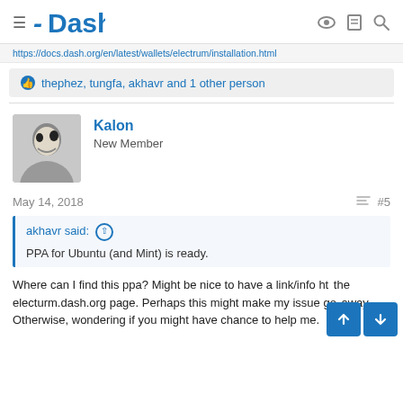Dash
https://docs.dash.org/en/latest/wallets/electrum/installation.html
thephez, tungfa, akhavr and 1 other person
Kalon
New Member
May 14, 2018    #5
akhavr said: ↑

PPA for Ubuntu (and Mint) is ready.
Where can I find this ppa? Might be nice to have a link/info right on the electurm.dash.org page. Perhaps this might make my issue go away. Otherwise, wondering if you might have chance to help me.